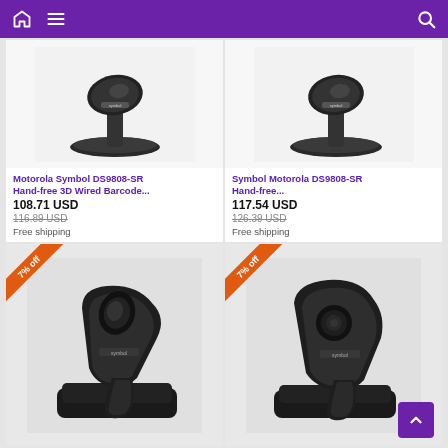Navigation bar with home, menu, and search icons
[Figure (photo): Motorola Symbol DS9808-SR barcode scanner on stand, top portion visible, white/grey background]
Motorola Symbol DS9808-SR
108.71 USD
116.89 USD (strikethrough)
Free shipping
[Figure (photo): Symbol Motorola DS9808-SR barcode scanner on stand, top portion visible, white/grey background]
Symbol Motorola DS9808-SR
117.54 USD
126.39 USD (strikethrough)
Free shipping
[Figure (photo): Barcode scanner (handheld wireless) in docking station, front-facing view, 7% off ribbon badge]
[Figure (photo): Barcode scanner (handheld wireless) in docking station, side view, 7% off ribbon badge]